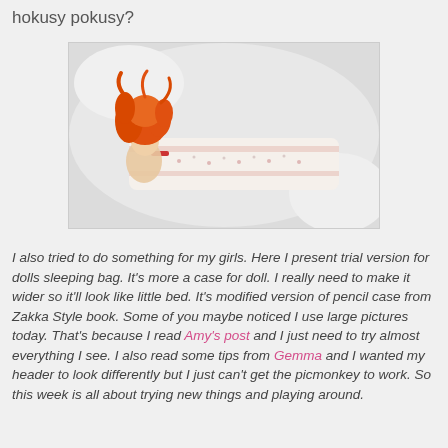hokusy pokusy?
[Figure (photo): A small doll with orange/red hair lying on a floral fabric sleeping bag or pencil case on a white surface.]
I also tried to do something for my girls. Here I present trial version for dolls sleeping bag. It's more a case for doll. I really need to make it wider so it'll look like little bed. It's modified version of pencil case from Zakka Style book. Some of you maybe noticed I use large pictures today. That's because I read Amy's post and I just need to try almost everything I see. I also read some tips from Gemma and I wanted my header to look differently but I just can't get the picmonkey to work. So this week is all about trying new things and playing around.